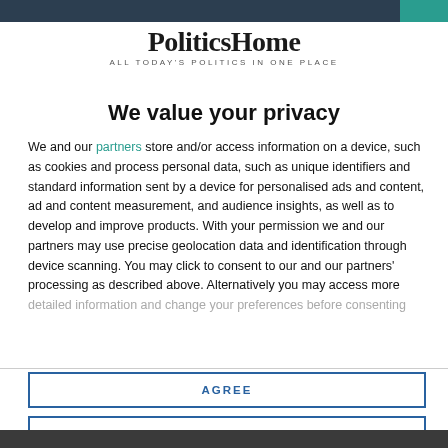PoliticsHome — ALL TODAY'S POLITICS IN ONE PLACE
We value your privacy
We and our partners store and/or access information on a device, such as cookies and process personal data, such as unique identifiers and standard information sent by a device for personalised ads and content, ad and content measurement, and audience insights, as well as to develop and improve products. With your permission we and our partners may use precise geolocation data and identification through device scanning. You may click to consent to our and our partners' processing as described above. Alternatively you may access more detailed information and change your preferences before consenting
AGREE
MORE OPTIONS